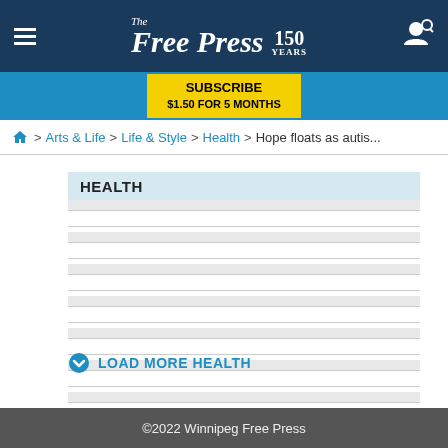The Free Press 150 Years
SUBSCRIBE $1.50 FOR 5 MONTHS
Home > Arts & Life > Life & Style > Health > Hope floats as autis...
HEALTH
(article list items — shown as placeholder lines)
LOAD MORE HEALTH
©2022 Winnipeg Free Press